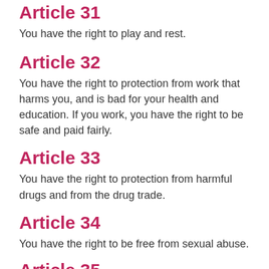Article 31
You have the right to play and rest.
Article 32
You have the right to protection from work that harms you, and is bad for your health and education. If you work, you have the right to be safe and paid fairly.
Article 33
You have the right to protection from harmful drugs and from the drug trade.
Article 34
You have the right to be free from sexual abuse.
Article 35